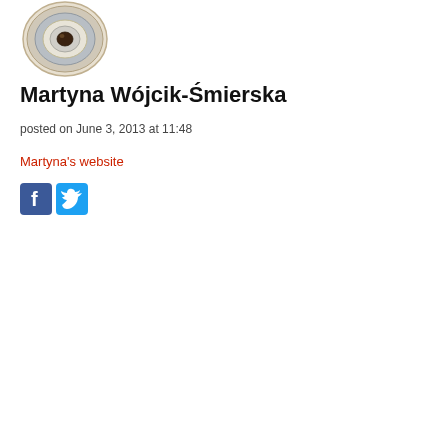[Figure (illustration): Circular eye-like artwork illustration with concentric rings in brown, grey, and cream tones]
Martyna Wójcik-Śmierska
posted on June 3, 2013 at 11:48
Martyna's website
[Figure (other): Facebook and Twitter social media share buttons]